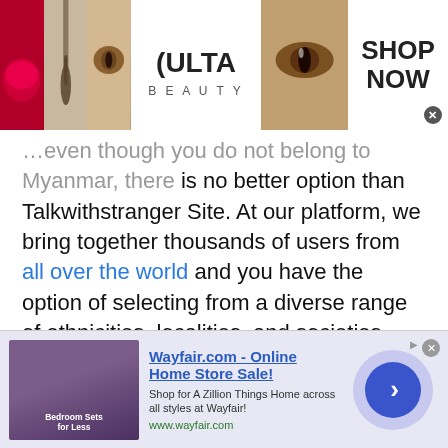[Figure (photo): Ulta Beauty advertisement banner at top with makeup images (lips, brush, eye) and Ulta logo, with SHOP NOW text]
...even though you do not belong to Myanmar, there is no better option than Talkwithstranger Site. At our platform, we bring together thousands of users from all over the world and you have the option of selecting from a diverse range of ethnicities, localities, and societies which enables you to get to know people from anywhere!

It also allows you to get to know other cultures and look at the world from a new perspective. Think of it like travelling, but through a digital platform. Although you don't get to see new destinations every day like you
[Figure (screenshot): Wayfair.com - Online Home Store Sale! advertisement banner at bottom with bedroom image and navigation arrow]